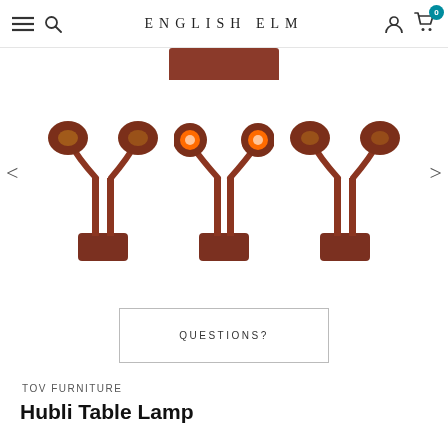ENGLISH ELM — navigation header with menu, search, account, cart icons
[Figure (photo): Three terracotta/rust-colored dual-head table lamps shown from slightly different angles side by side. Each lamp has two spherical lamp heads on curved metal stems, a cylindrical base. The center lamp shows the lamp heads from the front showing orange interiors. Navigation arrows (< >) on left and right sides. A partial view of a rust-colored flat lampshade at the top.]
QUESTIONS?
TOV FURNITURE
Hubli Table Lamp